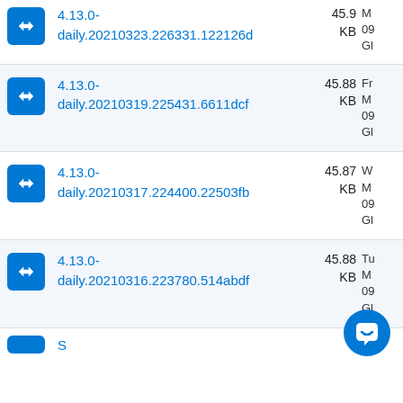4.13.0-daily.20210323.226331.122126d  45.9 KB
4.13.0-daily.20210319.225431.6611dcf  45.88 KB  Fr M 09 Gl
4.13.0-daily.20210317.224400.22503fb  45.87 KB  W M 09 Gl
4.13.0-daily.20210316.223780.514abdf  45.88 KB  Tu M 09 Gl